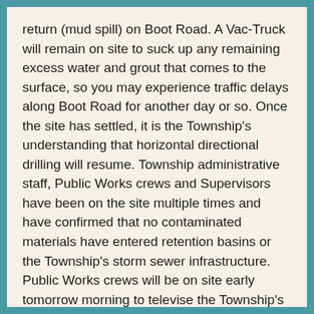return (mud spill) on Boot Road. A Vac-Truck will remain on site to suck up any remaining excess water and grout that comes to the surface, so you may experience traffic delays along Boot Road for another day or so. Once the site has settled, it is the Township's understanding that horizontal directional drilling will resume. Township administrative staff, Public Works crews and Supervisors have been on the site multiple times and have confirmed that no contaminated materials have entered retention basins or the Township's storm sewer infrastructure. Public Works crews will be on site early tomorrow morning to televise the Township's sanitary sewer system to ensure that it is unaffected as well.
6/2/2019 –
Sunday, 6:30pm: This post is an addendum to